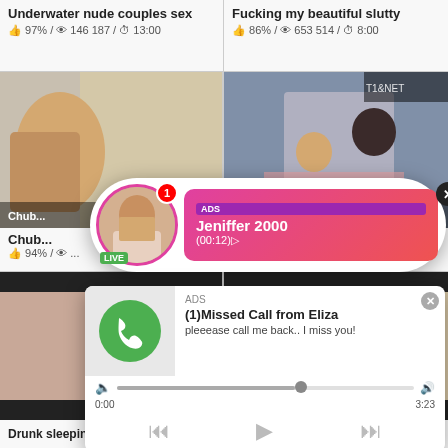Underwater nude couples sex
👍 97% / 👁 146 187 / ⏱ 13:00
Fucking my beautiful slutty
👍 86% / 👁 653 514 / ⏱ 8:00
[Figure (screenshot): Video thumbnail - chubby woman in kitchen, bent over]
[Figure (screenshot): Video thumbnail - couple on bed]
[Figure (infographic): Live cam popup ad: profile photo with LIVE badge, notification badge showing 1. Pink gradient box with ADS tag, name Jeniffer 2000, time (00:12)]
Chub... get
👍 94% / ... :00
[Figure (screenshot): Video thumbnail - lower body, skin]
[Figure (screenshot): Video thumbnail - right side blurred content]
[Figure (infographic): Missed call popup ad: Green phone icon circle, ADS label, (1)Missed Call from Eliza, pleeease call me back.. I miss you!, audio player with timeline 0:00 to 3:23, playback controls]
Drunk sleeping school girl was
Young Bunny Love fingering